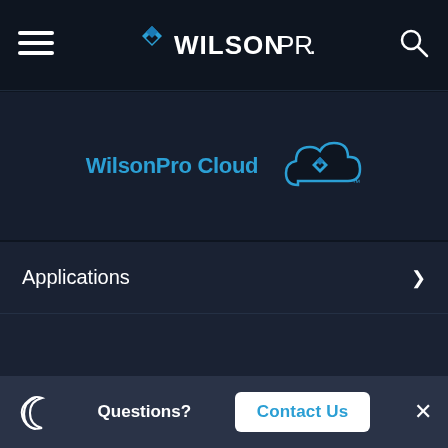[Figure (logo): WilsonPro logo with hamburger menu icon on left and search icon on right in dark nav bar]
[Figure (logo): WilsonPro Cloud text link with cloud+pen logo icon on dark background promo area]
Applications
Products
Partners
Questions? Contact Us